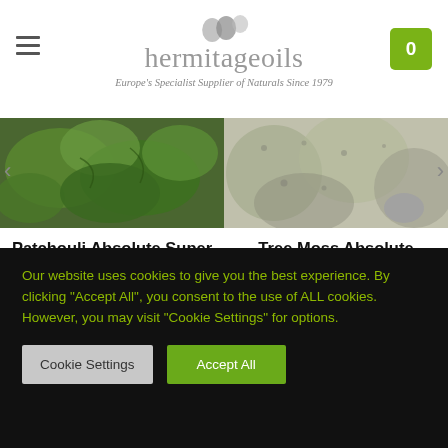[Figure (logo): Hermitageoils logo with droplet icons and tagline: Europe's Specialist Supplier of Naturals Since 1979]
[Figure (photo): Close-up photo of patchouli plant leaves (green, textured)]
[Figure (photo): Close-up photo of tree moss (light grey-green, textured)]
Patchouli Absolute Super Premium
★★★★★ (5 stars rating)
VIEW OPTIONS
Tree Moss Absolute
★★★★★ (5 stars rating)
VIEW OPTIONS
Our website uses cookies to give you the best experience. By clicking "Accept All", you consent to the use of ALL cookies. However, you may visit "Cookie Settings" for options.
Cookie Settings
Accept All